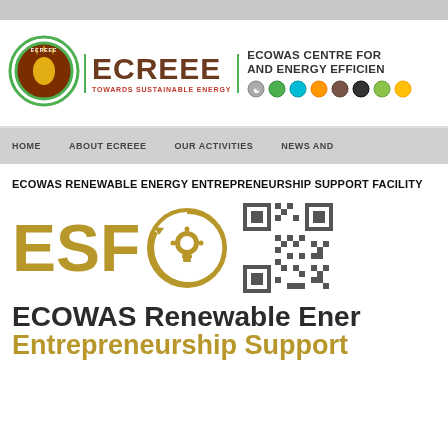[Figure (screenshot): ECREEE website screenshot showing the organization header with logo, navigation bar, page title, ESF logo with QR code, and bottom title text]
ECREEE — ECOWAS CENTRE FOR RENEWABLE ENERGY AND ENERGY EFFICIENCY — Towards Sustainable Energy
HOME    ABOUT ECREEE    OUR ACTIVITIES    NEWS AND
ECOWAS RENEWABLE ENERGY ENTREPRENEURSHIP SUPPORT FACILITY
ESF
ECOWAS Renewable Energy
Entrepreneurship Support